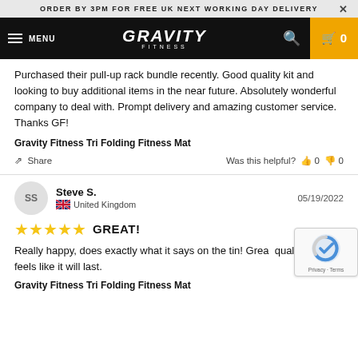ORDER BY 3PM FOR FREE UK NEXT WORKING DAY DELIVERY
[Figure (logo): Gravity Fitness logo in white on black navbar with MENU, search icon, and cart button]
Purchased their pull-up rack bundle recently. Good quality kit and looking to buy additional items in the near future. Absolutely wonderful company to deal with. Prompt delivery and amazing customer service. Thanks GF!
Gravity Fitness Tri Folding Fitness Mat
Share  |  Was this helpful?  👍 0  👎 0
Steve S.   05/19/2022  United Kingdom
★★★★★  GREAT!
Really happy, does exactly what it says on the tin! Great quality and feels like it will last.
Gravity Fitness Tri Folding Fitness Mat